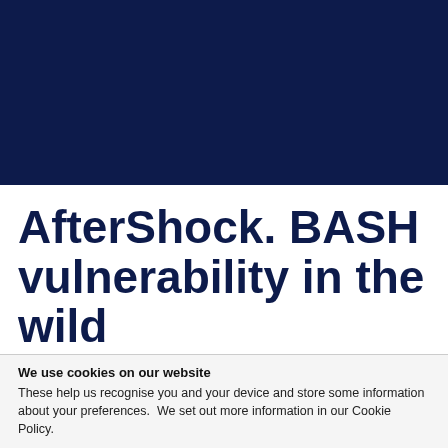[Figure (illustration): Dark navy blue banner/header image filling the top portion of the page]
AfterShock. BASH vulnerability in the wild
We use cookies on our website
These help us recognise you and your device and store some information about your preferences.  We set out more information in our Cookie Policy.